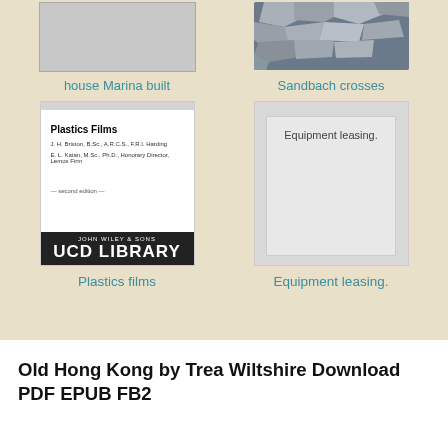[Figure (illustration): Gray placeholder book cover thumbnail]
[Figure (photo): Photo of Sandbach crosses stone carvings]
house Marina built
Sandbach crosses
[Figure (photo): Book cover: Plastics Films by J.H. Briston, with UCD Library stamp]
[Figure (illustration): Gray placeholder book cover for Equipment leasing]
Plastics films
Equipment leasing.
Old Hong Kong by Trea Wiltshire Download PDF EPUB FB2